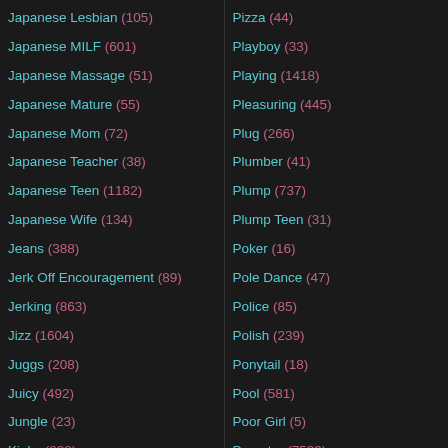Japanese Lesbian (105)
Japanese MILF (601)
Japanese Massage (51)
Japanese Mature (55)
Japanese Mom (72)
Japanese Teacher (38)
Japanese Teen (1182)
Japanese Wife (134)
Jeans (388)
Jerk Off Encouragement (89)
Jerking (863)
Jizz (1604)
Juggs (208)
Juicy (492)
Jungle (23)
Kinky (828)
Pizza (44)
Playboy (33)
Playing (1418)
Pleasuring (445)
Plug (266)
Plumber (41)
Plump (737)
Plump Teen (31)
Poker (16)
Pole Dance (47)
Police (85)
Polish (239)
Ponytail (18)
Pool (581)
Poor Girl (5)
Pornstar (7539)